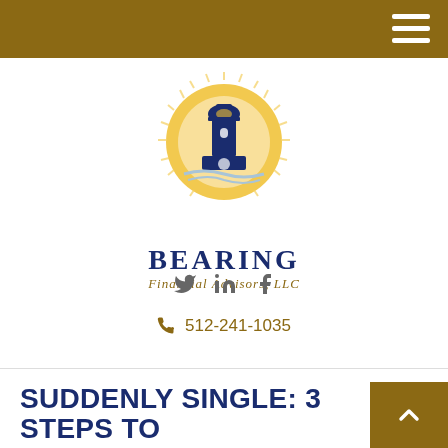[Figure (logo): Bearing Financial Advisors LLC logo — lighthouse with golden sunburst, dark navy blue lighthouse tower, with text 'BEARING Financial Advisors, LLC' below]
🐦 in f
📞 512-241-1035
SUDDENLY SINGLE: 3 STEPS TO TAKE NOW